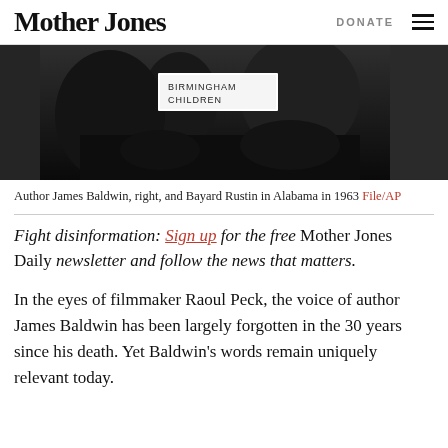Mother Jones   DONATE
[Figure (photo): Black and white photograph of Author James Baldwin, right, and Bayard Rustin in Alabama in 1963. A sign reading 'Birmingham Children' is visible.]
Author James Baldwin, right, and Bayard Rustin in Alabama in 1963 File/AP
Fight disinformation: Sign up for the free Mother Jones Daily newsletter and follow the news that matters.
In the eyes of filmmaker Raoul Peck, the voice of author James Baldwin has been largely forgotten in the 30 years since his death. Yet Baldwin's words remain uniquely relevant today.